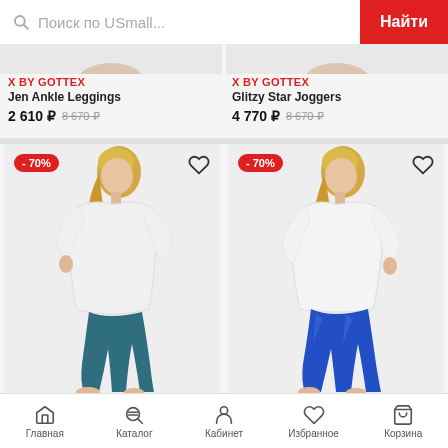Поиск по USmall... | Найти
X BY GOTTEX
Jen Ankle Leggings
2 610 ₽  8 670 ₽
X BY GOTTEX
Glitzy Star Joggers
4 770 ₽  8 670 ₽
[Figure (photo): Woman wearing white hoodie and dark teal ankle leggings, side profile, discount badge -70%]
[Figure (photo): Woman wearing white top and blue/royal blue shiny leggings, side profile, discount badge -70%]
Главная | Каталог | Кабинет | Избранное | Корзина